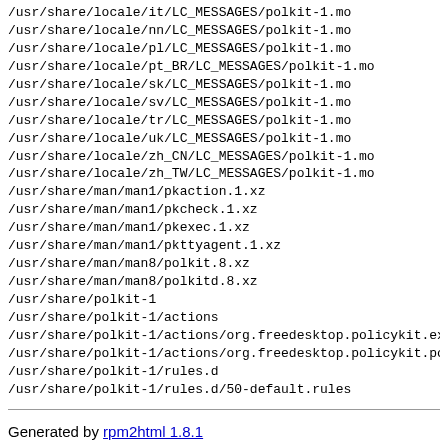/usr/share/locale/it/LC_MESSAGES/polkit-1.mo
/usr/share/locale/nn/LC_MESSAGES/polkit-1.mo
/usr/share/locale/pl/LC_MESSAGES/polkit-1.mo
/usr/share/locale/pt_BR/LC_MESSAGES/polkit-1.mo
/usr/share/locale/sk/LC_MESSAGES/polkit-1.mo
/usr/share/locale/sv/LC_MESSAGES/polkit-1.mo
/usr/share/locale/tr/LC_MESSAGES/polkit-1.mo
/usr/share/locale/uk/LC_MESSAGES/polkit-1.mo
/usr/share/locale/zh_CN/LC_MESSAGES/polkit-1.mo
/usr/share/locale/zh_TW/LC_MESSAGES/polkit-1.mo
/usr/share/man/man1/pkaction.1.xz
/usr/share/man/man1/pkcheck.1.xz
/usr/share/man/man1/pkexec.1.xz
/usr/share/man/man1/pkttyagent.1.xz
/usr/share/man/man8/polkit.8.xz
/usr/share/man/man8/polkitd.8.xz
/usr/share/polkit-1
/usr/share/polkit-1/actions
/usr/share/polkit-1/actions/org.freedesktop.policykit.exa
/usr/share/polkit-1/actions/org.freedesktop.policykit.pol
/usr/share/polkit-1/rules.d
/usr/share/polkit-1/rules.d/50-default.rules
Generated by rpm2html 1.8.1
Fabrice Bellet, Thu Sep 1 03:50:53 2022